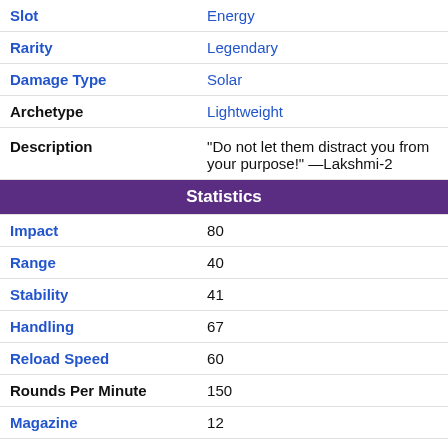| Property | Value |
| --- | --- |
| Slot | Energy |
| Rarity | Legendary |
| Damage Type | Solar |
| Archetype | Lightweight |
| Description | "Do not let them distract you from your purpose!" —Lakshmi-2 |
| Statistics |  |
| Impact | 80 |
| Range | 40 |
| Stability | 41 |
| Handling | 67 |
| Reload Speed | 60 |
| Rounds Per Minute | 150 |
| Magazine | 12 |
| Zoom | 14 |
| Inventory Size | 54 |